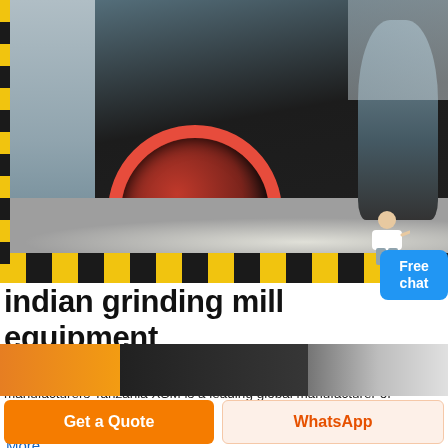[Figure (photo): Industrial grinding mill / crusher machine in a factory hall, with a large red-rimmed flywheel visible on the left side. Yellow-black safety striping on the floor. Another cone crusher visible in the background on the right.]
indian grinding mill equipment for bentonite clays
clay grinding mill manufacturers Tanzania- clay grinding mill manufacturers Tanzania XSM is a leading global manufacturer of crushing and milling equipment.
More
[Figure (photo): Partial bottom strip of another industrial equipment photo.]
Get a Quote
WhatsApp